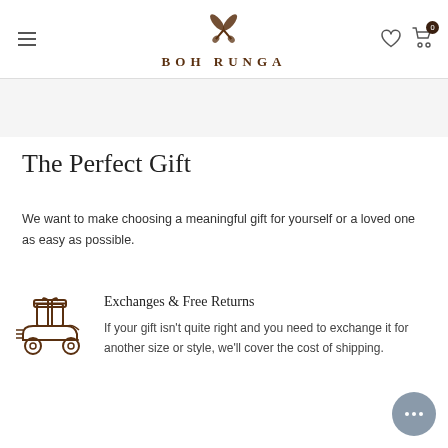BOH RUNGA
The Perfect Gift
We want to make choosing a meaningful gift for yourself or a loved one as easy as possible.
[Figure (illustration): Icon of a gift box on a delivery scooter/cart with wheels, drawn in brown outline style]
Exchanges & Free Returns
If your gift isn't quite right and you need to exchange it for another size or style, we'll cover the cost of shipping.